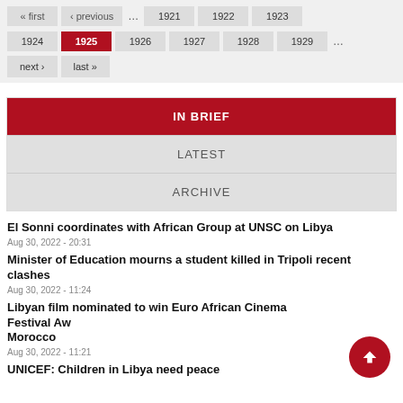« first  ‹ previous  …  1921  1922  1923
1924  1925  1926  1927  1928  1929  …
next ›  last »
IN BRIEF
LATEST
ARCHIVE
El Sonni coordinates with African Group at UNSC on Libya
Aug 30, 2022 - 20:31
Minister of Education mourns a student killed in Tripoli recent clashes
Aug 30, 2022 - 11:24
Libyan film nominated to win Euro African Cinema Festival Awards in Morocco
Aug 30, 2022 - 11:21
UNICEF: Children in Libya need peace